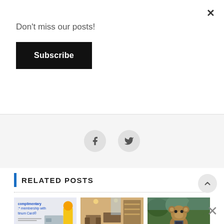Don't miss our posts!
Subscribe
[Figure (illustration): Facebook icon circle and Twitter bird icon circle, social sharing buttons]
RELATED POSTS
[Figure (photo): Credit card promotional image showing complimentary membership with Platinum Card and Amex card]
WalMart+ adds Paramount+ as a benefit – use Amex Platinum credit
[Figure (photo): Interior of an airport lounge with seating and shelving]
100k Capital One Venture Rewards targeted offer + 40k VentureOne
[Figure (photo): Stuffed bear/monkey mascot holding a small card, outdoors with green foliage]
American Express Business Platinum 175k [targeted]